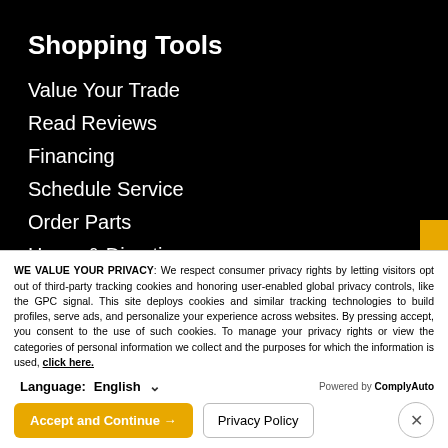Shopping Tools
Value Your Trade
Read Reviews
Financing
Schedule Service
Order Parts
Hours & Directions
Follow us
WE VALUE YOUR PRIVACY: We respect consumer privacy rights by letting visitors opt out of third-party tracking cookies and honoring user-enabled global privacy controls, like the GPC signal. This site deploys cookies and similar tracking technologies to build profiles, serve ads, and personalize your experience across websites. By pressing accept, you consent to the use of such cookies. To manage your privacy rights or view the categories of personal information we collect and the purposes for which the information is used, click here.
Language: English
Powered by ComplyAuto
Accept and Continue →
Privacy Policy